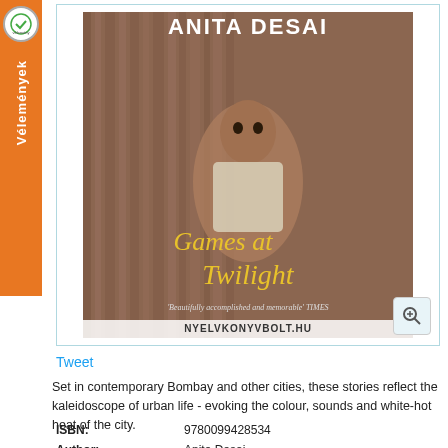[Figure (photo): Book cover of 'Games at Twilight' by Anita Desai, showing a young child and the text 'Beautifully accomplished and memorable' - TIMES. Published by NYELVKONYVBOLT.HU]
Tweet
Set in contemporary Bombay and other cities, these stories reflect the kaleidoscope of urban life - evoking the colour, sounds and white-hot heat of the city.
| ISBN: | 9780099428534 |
| Author: | Anita Desai |